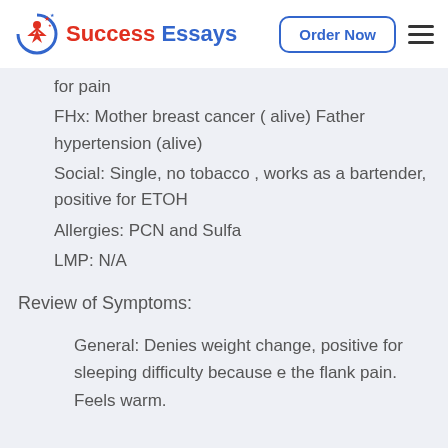Success Essays | Order Now
for pain
FHx: Mother breast cancer ( alive) Father hypertension (alive)
Social: Single, no tobacco , works as a bartender, positive for ETOH
Allergies: PCN and Sulfa
LMP: N/A
Review of Symptoms:
General: Denies weight change, positive for sleeping difficulty because e the flank pain. Feels warm.